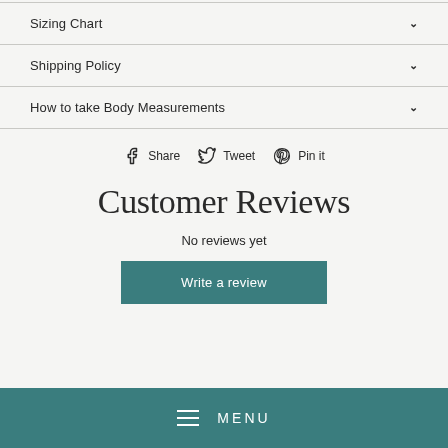Sizing Chart
Shipping Policy
How to take Body Measurements
Share  Tweet  Pin it
Customer Reviews
No reviews yet
Write a review
≡ MENU